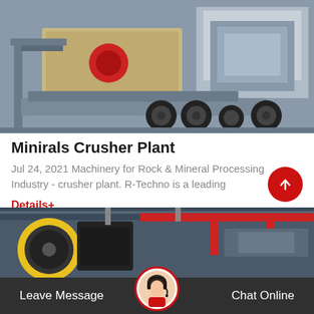[Figure (photo): Industrial minerals crusher plant on a truck/trailer chassis, heavy machinery with yellow/beige crushing equipment and gray metal frame, outdoor industrial setting.]
Minirals Crusher Plant
Jul 24, 2021 Machinery for Rock & Mineral Processing Industry - crusher plant. R-Techno is a leading
Details+
[Figure (photo): Industrial factory interior with large yellow and black machinery rollers/equipment and red overhead crane structures.]
Leave Message
Chat Online